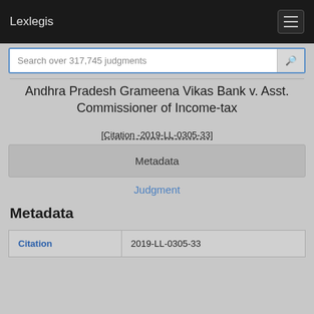Lexlegis
Search over 317,745 judgments
Andhra Pradesh Grameena Vikas Bank v. Asst. Commissioner of Income-tax
[Citation -2019-LL-0305-33]
Metadata
Judgment
Metadata
| Citation |  |
| --- | --- |
| Citation | 2019-LL-0305-33 |